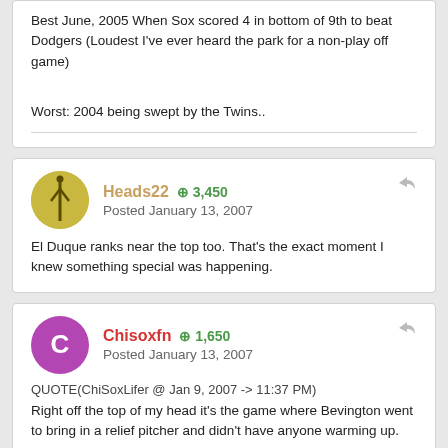Best June, 2005 When Sox scored 4 in bottom of 9th to beat Dodgers (Loudest I've ever heard the park for a non-play off game)
Worst: 2004 being swept by the Twins..
Heads22   + 3,450   Posted January 13, 2007
El Duque ranks near the top too. That's the exact moment I knew something special was happening.
Chisoxfn   + 1,650   Posted January 13, 2007
QUOTE(ChiSoxLifer @ Jan 9, 2007 -> 11:37 PM)
Right off the top of my head it's the game where Bevington went to bring in a relief pitcher and didn't have anyone warming up.